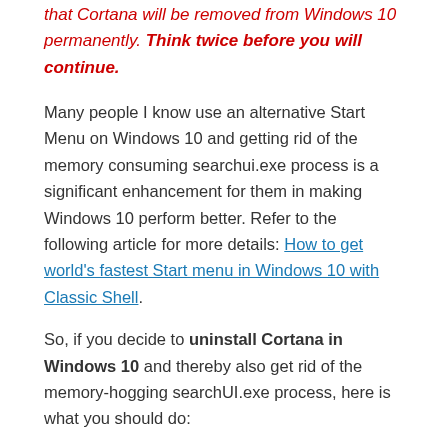that Cortana will be removed from Windows 10 permanently. Think twice before you will continue.
Many people I know use an alternative Start Menu on Windows 10 and getting rid of the memory consuming searchui.exe process is a significant enhancement for them in making Windows 10 perform better. Refer to the following article for more details: How to get world's fastest Start menu in Windows 10 with Classic Shell.
So, if you decide to uninstall Cortana in Windows 10 and thereby also get rid of the memory-hogging searchUI.exe process, here is what you should do:
Download the Uninstall Cortana ZIP file I made to make it easy.
Extract all files from the ZIP archive you downloaded to any desired folder, e.g. Desktop.